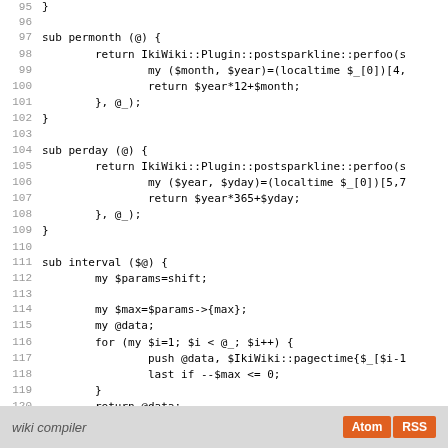[Figure (screenshot): Source code viewer showing Perl code lines 95-123, with line numbers on the left and code on the right. White background with monospace font.]
wiki compiler  Atom  RSS